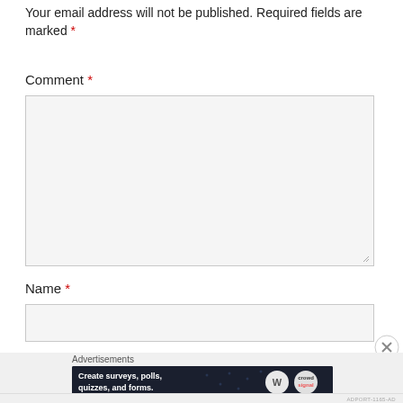Your email address will not be published. Required fields are marked *
Comment *
[Figure (other): Comment textarea input field, empty, with resize handle in bottom-right corner]
Name *
[Figure (other): Name text input field, empty]
[Figure (other): Close/dismiss button (X in circle)]
Advertisements
[Figure (other): Advertisement banner: dark navy background with text 'Create surveys, polls, quizzes, and forms.' with WordPress logo and circular logo on the right]
ADPORT-1165-AD